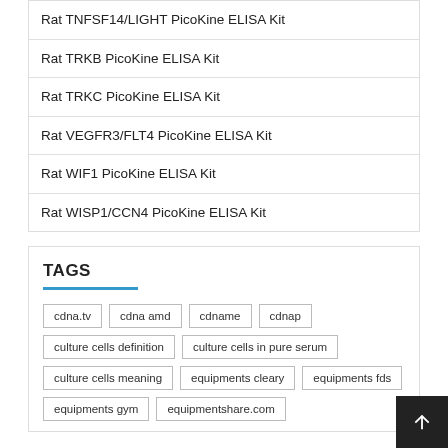Rat TNFSF14/LIGHT PicoKine ELISA Kit
Rat TRKB PicoKine ELISA Kit
Rat TRKC PicoKine ELISA Kit
Rat VEGFR3/FLT4 PicoKine ELISA Kit
Rat WIF1 PicoKine ELISA Kit
Rat WISP1/CCN4 PicoKine ELISA Kit
TAGS
cdna.tv
cdna amd
cdname
cdnap
culture cells definition
culture cells in pure serum
culture cells meaning
equipments cleary
equipments fds
equipments gym
equipmentshare.com